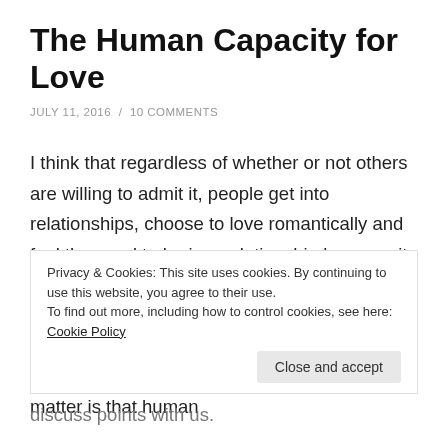The Human Capacity for Love
JULY 11, 2016 / 10 COMMENTS
I think that regardless of whether or not others are willing to admit it, people get into relationships, choose to love romantically and feel the need to be in a relationship because it does something for them. They do it to fill an empty space, whatever self serving, or altruistic space that might be, or even to just make life more interesting. The fact of the matter is that human
Privacy & Cookies: This site uses cookies. By continuing to use this website, you agree to their use.
To find out more, including how to control cookies, see here: Cookie Policy
Close and accept
discuss points with us.